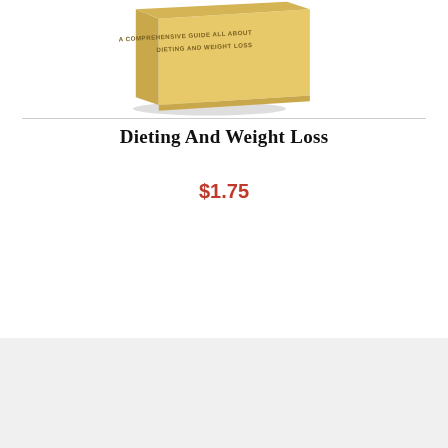[Figure (illustration): 3D book cover with golden/tan color and text 'A COMPREHENSIVE GUIDE ALL ABOUT DIETING AND WEIGHT LOSS' on the cover, shown in perspective view]
Dieting And Weight Loss
$1.75
ADD TO CART
Home
About Us
About PLR Products